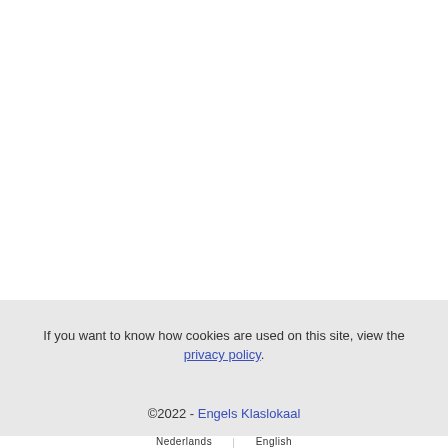If you want to know how cookies are used on this site, view the privacy policy.
©2022 - Engels Klaslokaal
Nederlands   English